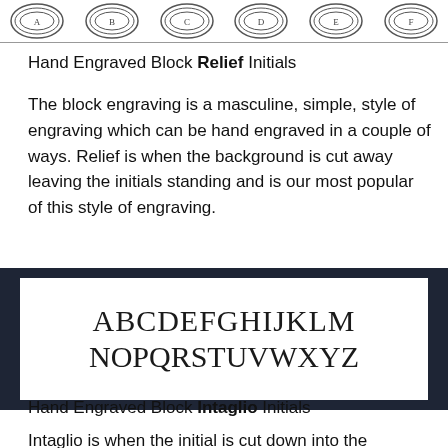[Figure (illustration): Row of six circular engraved initials/medallions with decorative borders, shown in outline/line art style]
Hand Engraved Block Relief Initials
The block engraving is a masculine, simple, style of engraving which can be hand engraved in a couple of ways. Relief is when the background is cut away leaving the initials standing and is our most popular of this style of engraving.
[Figure (illustration): Alphabet display showing ABCDEFGHIJKLM on first row and NOPQRSTUVWXYZ on second row, in a serif engraving-style font, white background with dark border]
Hand Engraved Block Intaglio Initials
Intaglio is when the initial is cut down into the